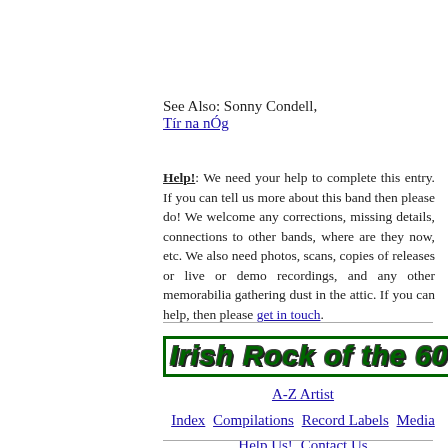See Also: Sonny Condell, Tír na nÓg
Help!: We need your help to complete this entry. If you can tell us more about this band then please do! We welcome any corrections, missing details, connections to other bands, where are they now, etc. We also need photos, scans, copies of releases or live or demo recordings, and any other memorabilia gathering dust in the attic. If you can help, then please get in touch.
[Figure (logo): Irish Rock of the 60s- site logo in green decorative text]
A-Z Artist
Index  Compilations  Record Labels  Media
Help Us!  Contact Us  Resources  Timeline